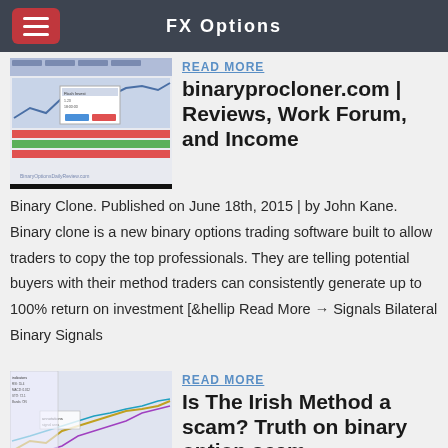FX Options
READ MORE
binaryprocloner.com | Reviews, Work Forum, and Income
Binary Clone. Published on June 18th, 2015 | by John Kane. Binary clone is a new binary options trading software built to allow traders to copy the top professionals. They are telling potential buyers with their method traders can consistently generate up to 100% return on investment [&hellip Read More → Signals Bilateral Binary Signals
READ MORE
Is The Irish Method a scam? Truth on binary option scam
Binary profit cloner is a new binary options software that is expected to make $200-$1000 a day on autopilot by Andrew